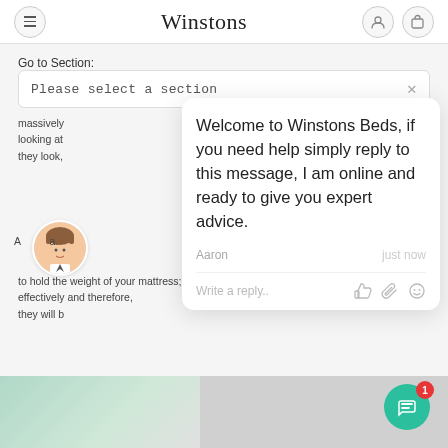Winstons
Go to Section:
Please select a section
massively
looking at
they look,
Welcome to Winstons Beds, if you need help simply reply to this message, I am online and ready to give you expert advice.
Aaron   just now
to hold the weight of your mattress; effectively and therefore, they will b
Write a reply..